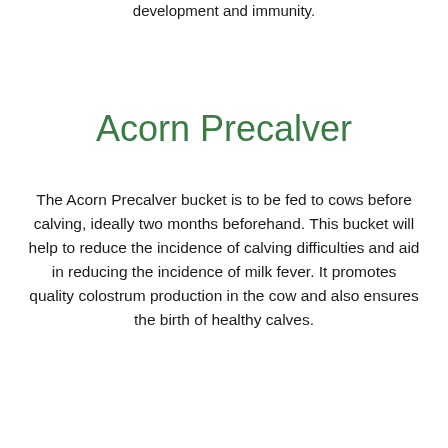development and immunity.
Acorn Precalver
The Acorn Precalver bucket is to be fed to cows before calving, ideally two months beforehand. This bucket will help to reduce the incidence of calving difficulties and aid in reducing the incidence of milk fever. It promotes quality colostrum production in the cow and also ensures the birth of healthy calves.